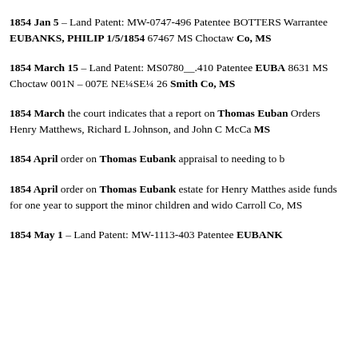1854 Jan 5 – Land Patent:  MW-0747-496 Patentee BOTTERS Warrantee EUBANKS, PHILIP 1/5/1854 67467 MS Choctaw Co, MS
1854 March 15 – Land Patent:  MS0780__.410 Patentee EUBA 8631 MS Choctaw 001N – 007E NE¼SE¼ 26 Smith Co, MS
1854 March the court indicates that a report on Thomas Euban Orders Henry Matthews, Richard L Johnson, and John C McCa MS
1854 April order on Thomas Eubank appraisal to needing to b
1854 April order on Thomas Eubank estate for Henry Matthes aside funds for one year to support the minor children and wido Carroll Co, MS
1854 May 1 – Land Patent:  MW-1113-403 Patentee EUBANK